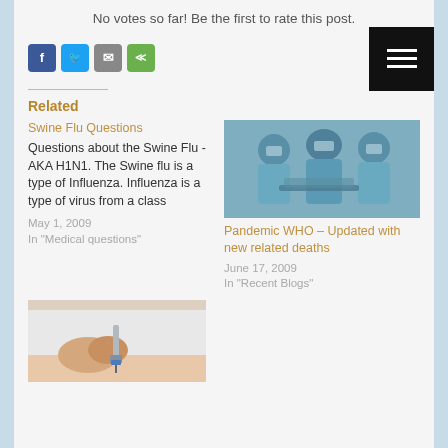No votes so far! Be the first to rate this post.
[Figure (screenshot): Social sharing buttons: Facebook (blue), Twitter (blue), Email (gray), Share (green), Pinterest (red)]
[Figure (other): Black menu button with three horizontal white lines (hamburger menu)]
Related
Swine Flu Questions
Questions about the Swine Flu - AKA H1N1. The Swine flu is a type of Influenza. Influenza is a type of virus from a class
May 1, 2009
In "Medical questions"
[Figure (photo): Medical professionals in blue gowns and masks in a hospital setting]
Pandemic WHO – Updated with new related deaths
June 17, 2009
In "Recent Blogs"
[Figure (photo): Close-up of a hand administering an injection or vaccination]